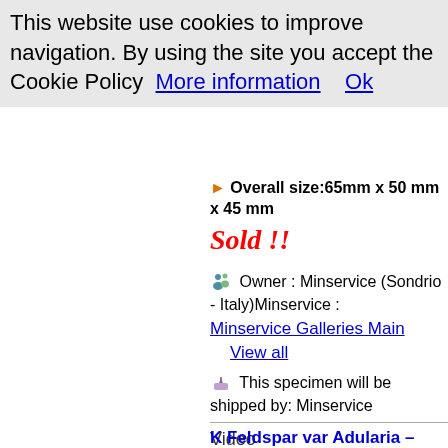This website use cookies to improve navigation. By using the site you accept the Cookie Policy   More information     Ok
Overall size:65mm x 50 mm x 45 mm
Sold !!
Owner : Minservice (Sondrio - Italy)Minservice : Minservice Galleries Main   View all
This specimen will be shipped by: Minservice
Video
[Figure (other): Adobe Flash Player icon/plugin placeholder box]
K Feldspar var Adularia -